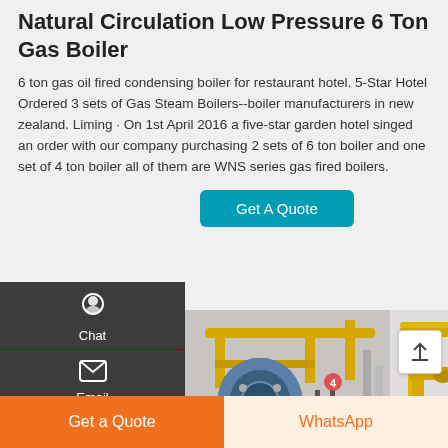Natural Circulation Low Pressure 6 Ton Gas Boiler
6 ton gas oil fired condensing boiler for restaurant hotel. 5-Star Hotel Ordered 3 sets of Gas Steam Boilers--boiler manufacturers in new zealand. Liming · On 1st April 2016 a five-star garden hotel singed an order with our company purchasing 2 sets of 6 ton boiler and one set of 4 ton boiler all of them are WNS series gas fired boilers.
[Figure (photo): Industrial gas boiler installation showing blue cylindrical boiler with yellow overhead piping and steel staircase structure, and second photo showing yellow industrial piping system in a facility]
Get a Quote | WhatsApp